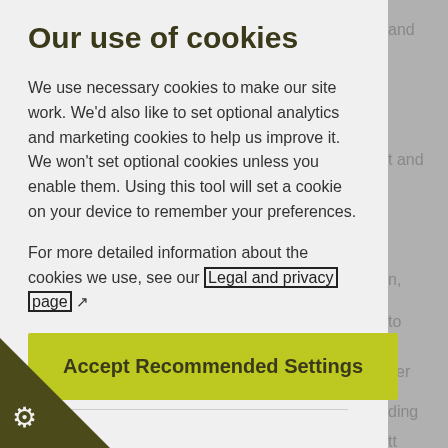Our use of cookies
We use necessary cookies to make our site work. We'd also like to set optional analytics and marketing cookies to help us improve it. We won't set optional cookies unless you enable them. Using this tool will set a cookie on your device to remember your preferences.
For more detailed information about the cookies we use, see our Legal and privacy page
Accept Recommended Settings